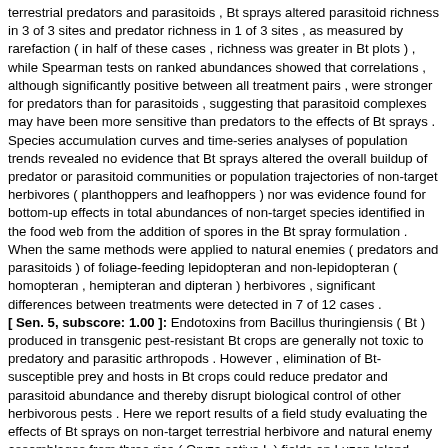terrestrial predators and parasitoids , Bt sprays altered parasitoid richness in 3 of 3 sites and predator richness in 1 of 3 sites , as measured by rarefaction ( in half of these cases , richness was greater in Bt plots ) , while Spearman tests on ranked abundances showed that correlations , although significantly positive between all treatment pairs , were stronger for predators than for parasitoids , suggesting that parasitoid complexes may have been more sensitive than predators to the effects of Bt sprays . Species accumulation curves and time-series analyses of population trends revealed no evidence that Bt sprays altered the overall buildup of predator or parasitoid communities or population trajectories of non-target herbivores ( planthoppers and leafhoppers ) nor was evidence found for bottom-up effects in total abundances of non-target species identified in the food web from the addition of spores in the Bt spray formulation . When the same methods were applied to natural enemies ( predators and parasitoids ) of foliage-feeding lepidopteran and non-lepidopteran ( homopteran , hemipteran and dipteran ) herbivores , significant differences between treatments were detected in 7 of 12 cases .
[ Sen. 5, subscore: 1.00 ]: Endotoxins from Bacillus thuringiensis ( Bt ) produced in transgenic pest-resistant Bt crops are generally not toxic to predatory and parasitic arthropods . However , elimination of Bt-susceptible prey and hosts in Bt crops could reduce predator and parasitoid abundance and thereby disrupt biological control of other herbivorous pests . Here we report results of a field study evaluating the effects of Bt sprays on non-target terrestrial herbivore and natural enemy assemblages from three rice ( Oryza sativa L ) fields on Luzon Island , Philippines . Because of restrictions on field-testing of transgenic rice , Bt sprays were used to remove foliage-feeding lepidopteran larvae that would be targeted by Bt rice . Data from a 546-taxa Philippines-wide food web , matched abundance plots , species accumulation curves